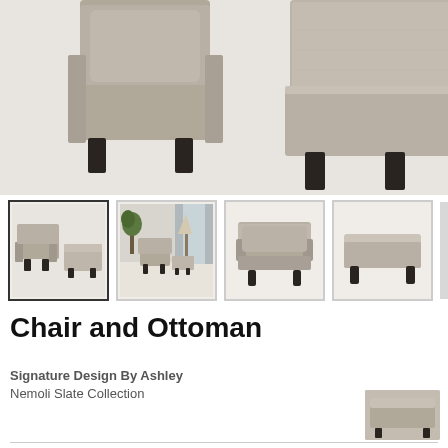[Figure (photo): Close-up photo of a grey upholstered chair and ottoman set with dark wooden legs, cropped to show detail of the fabric and legs]
[Figure (photo): Thumbnail 1 (selected): Grey chair and ottoman set shown together at an angle]
[Figure (photo): Thumbnail 2: Grey chair and ottoman styled in a room setting with lamp and plant]
[Figure (photo): Thumbnail 3: Front view of the grey upholstered chair alone]
[Figure (photo): Thumbnail 4: Side view of the ottoman alone]
Chair and Ottoman
Signature Design By Ashley
Nemoli Slate Collection